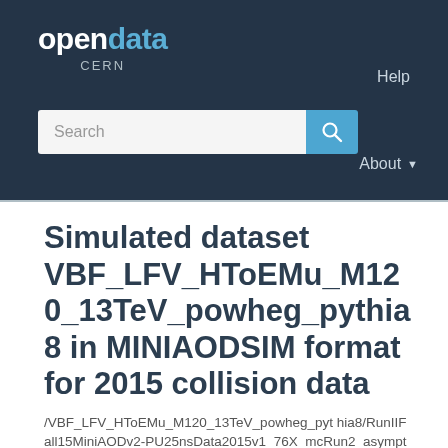opendata CERN
Simulated dataset VBF_LFV_HToEMu_M120_13TeV_powheg_pythia8 in MINIAODSIM format for 2015 collision data
/VBF_LFV_HToEMu_M120_13TeV_powheg_pythia8/RunIIFall15MiniAODv2-PU25nsData2015v1_76X_mcRun2_asymptotic_